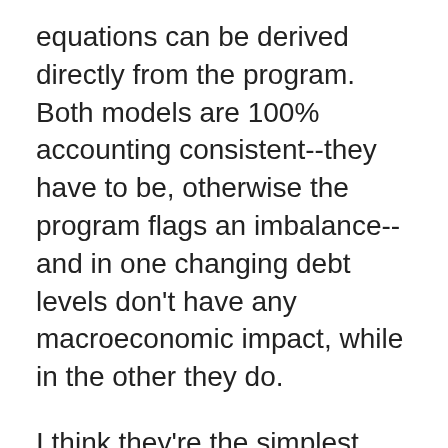equations can be derived directly from the program. Both models are 100% accounting consistent--they have to be, otherwise the program flags an imbalance--and in one changing debt levels don't have any macroeconomic impact, while in the other they do.
I think they're the simplest possible statement of the difference between Loanable Funds and Endogenous Money that one can make in an explicitly monetary model. I should be able to spend some time analyzing those